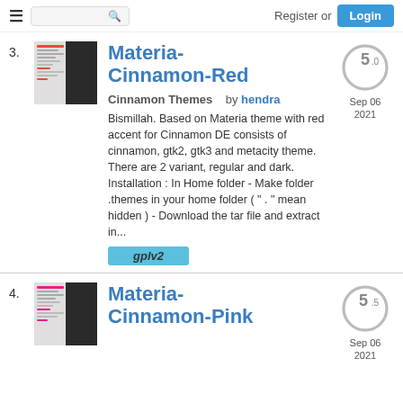Register or Login
3. Materia-Cinnamon-Red
[Figure (screenshot): Thumbnail screenshot of Materia-Cinnamon-Red theme]
Materia-Cinnamon-Red
Cinnamon Themes  by hendra
Bismillah. Based on Materia theme with red accent for Cinnamon DE consists of cinnamon, gtk2, gtk3 and metacity theme. There are 2 variant, regular and dark. Installation : In Home folder - Make folder .themes in your home folder ( " . " mean hidden ) - Download the tar file and extract in...
gplv2
5.0
Sep 06
2021
4. Materia-Cinnamon-Pink
[Figure (screenshot): Thumbnail screenshot of Materia-Cinnamon-Pink theme]
Materia-Cinnamon-Pink
5.5
Sep 06
2021